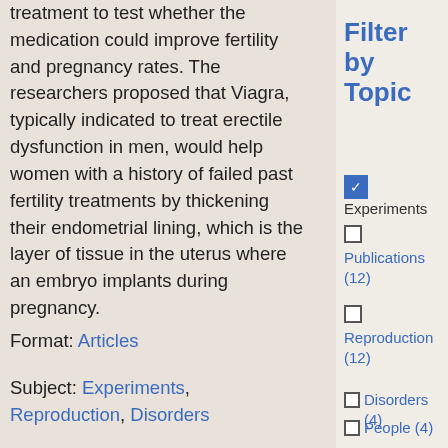treatment to test whether the medication could improve fertility and pregnancy rates. The researchers proposed that Viagra, typically indicated to treat erectile dysfunction in men, would help women with a history of failed past fertility treatments by thickening their endometrial lining, which is the layer of tissue in the uterus where an embryo implants during pregnancy.
Format: Articles
Subject: Experiments, Reproduction, Disorders
Filter by Topic
☑ Experiments
☐ Publications (12)
☐ Reproduction (12)
☐ Disorders (4)
☐ People (4)